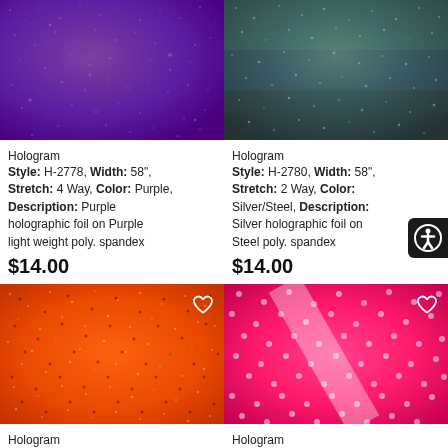[Figure (photo): Purple holographic fabric swatch with sparkle dots]
Hologram
Style: H-2778, Width: 58", Stretch: 4 Way, Color: Purple, Description: Purple holographic foil on Purple light weight poly. spandex
$14.00
[Figure (photo): Dark steel/silver holographic fabric swatch with sparkle dots]
Hologram
Style: H-2780, Width: 58", Stretch: 2 Way, Color: Silver/Steel, Description: Silver holographic foil on Steel poly. spandex
$14.00
[Figure (photo): Orange holographic fabric swatch with sparkle dots]
Hologram
Style: H-2781, Width: 58"
[Figure (photo): Hot pink holographic fabric swatch with sparkle dots]
Hologram
Style: H-2782, Width: 58"